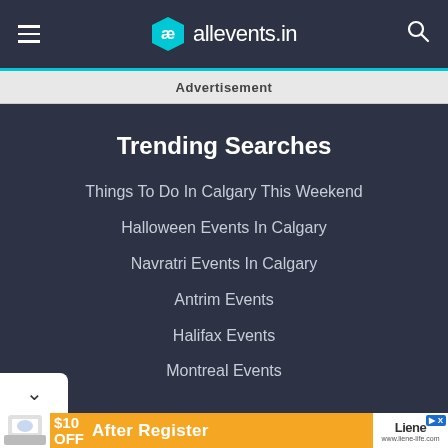[Figure (screenshot): allevents.in website header with hamburger menu, hexagonal logo, site name, and search icon on dark background]
Advertisement
Trending Searches
Things To Do In Calgary This Weekend
Halloween Events In Calgary
Navratri Events In Calgary
Antrim Events
Halifax Events
Montreal Events
[Figure (screenshot): Bottom advertisement banner with orange background showing $10 OFF After Register promotion for liene-life.com with printer photo]